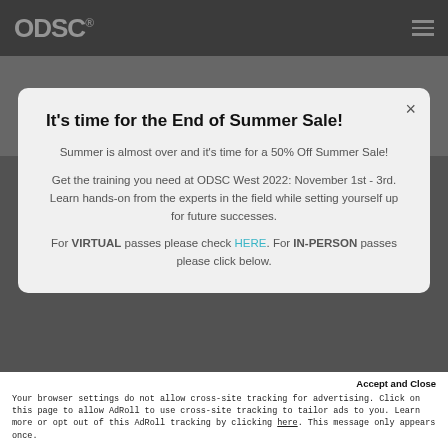ODSC
It's time for the End of Summer Sale!
Summer is almost over and it's time for a 50% Off Summer Sale!
Get the training you need at ODSC West 2022: November 1st - 3rd. Learn hands-on from the experts in the field while setting yourself up for future successes.
For VIRTUAL passes please check HERE. For IN-PERSON passes please click below.
Accept and Close
Your browser settings do not allow cross-site tracking for advertising. Click on this page to allow AdRoll to use cross-site tracking to tailor ads to you. Learn more or opt out of this AdRoll tracking by clicking here. This message only appears once.